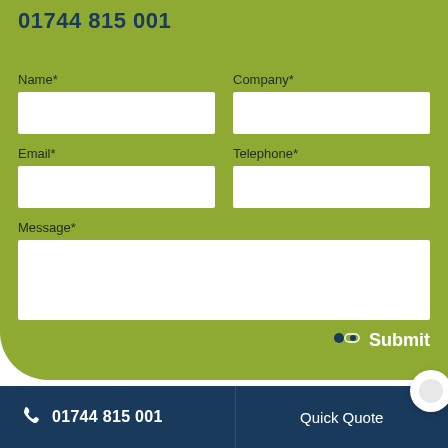01744 815 001
Name*
Company*
Email*
Telephone*
Message*
Submit
01744 815 001   Quick Quote